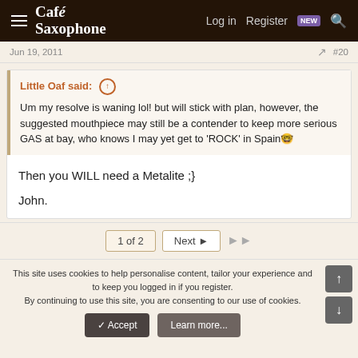Café Saxophone — Log in | Register | NEW | Search
Jun 19, 2011  #20
Little Oaf said: ↑  Um my resolve is waning lol! but will stick with plan, however, the suggested mouthpiece may still be a contender to keep more serious GAS at bay, who knows I may yet get to 'ROCK' in Spain 😜
Then you WILL need a Metalite ;}
John.
1 of 2  Next ▶  ▶▶
This site uses cookies to help personalise content, tailor your experience and to keep you logged in if you register.
By continuing to use this site, you are consenting to our use of cookies.